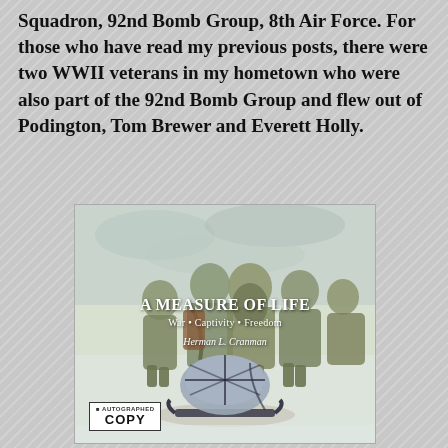Squadron, 92nd Bomb Group, 8th Air Force. For those who have read my previous posts, there were two WWII veterans in my hometown who were also part of the 92nd Bomb Group and flew out of Podington, Tom Brewer and Everett Holly.
[Figure (illustration): Book cover of 'A Measure of Life: War • Captivity • Freedom' by Herman L. Cranman. Shows illustrated figures from behind walking in winter gear, with a large bundled pack on a sled in the foreground. A white badge reads 'AUTOGRAPHED COPY'.]